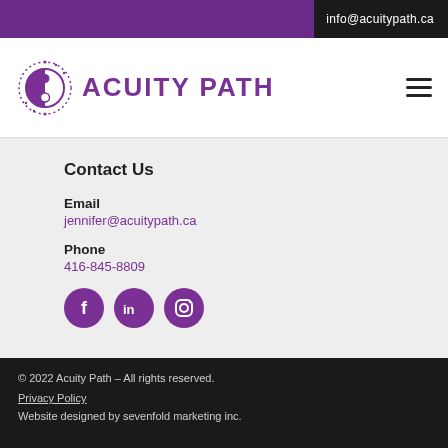info@acuitypath.ca
[Figure (logo): Acuity Path logo with circular yin-yang style icon and purple text reading ACUITY PATH]
Contact Us
Email
jennifer@acuitypath.ca
Phone
416-845-8809
[Figure (illustration): Three circular purple social media icons: Facebook, LinkedIn, Instagram]
© 2022 Acuity Path – All rights reserved.
Privacy Policy
Website designed by sevenfold marketing inc.